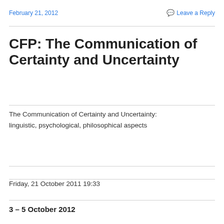February 21, 2012   Leave a Reply
CFP: The Communication of Certainty and Uncertainty
The Communication of Certainty and Uncertainty: linguistic, psychological, philosophical aspects
Friday, 21 October 2011 19:33
3 – 5 October 2012